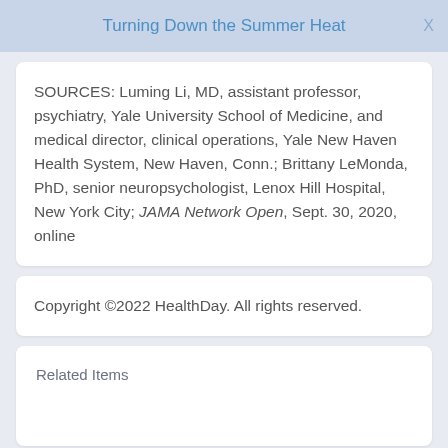Turning Down the Summer Heat
SOURCES: Luming Li, MD, assistant professor, psychiatry, Yale University School of Medicine, and medical director, clinical operations, Yale New Haven Health System, New Haven, Conn.; Brittany LeMonda, PhD, senior neuropsychologist, Lenox Hill Hospital, New York City; JAMA Network Open, Sept. 30, 2020, online
Copyright ©2022 HealthDay. All rights reserved.
Related Items